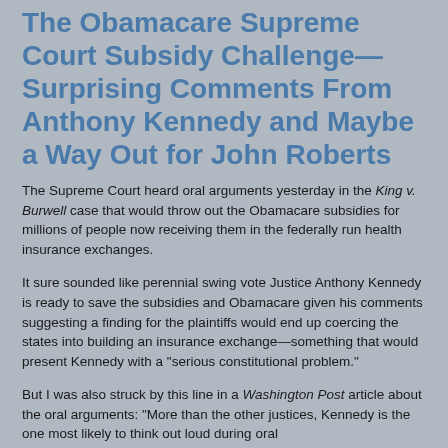The Obamacare Supreme Court Subsidy Challenge—Surprising Comments From Anthony Kennedy and Maybe a Way Out for John Roberts
The Supreme Court heard oral arguments yesterday in the King v. Burwell case that would throw out the Obamacare subsidies for millions of people now receiving them in the federally run health insurance exchanges.
It sure sounded like perennial swing vote Justice Anthony Kennedy is ready to save the subsidies and Obamacare given his comments suggesting a finding for the plaintiffs would end up coercing the states into building an insurance exchange—something that would present Kennedy with a "serious constitutional problem."
But I was also struck by this line in a Washington Post article about the oral arguments: "More than the other justices, Kennedy is the one most likely to think out loud during oral